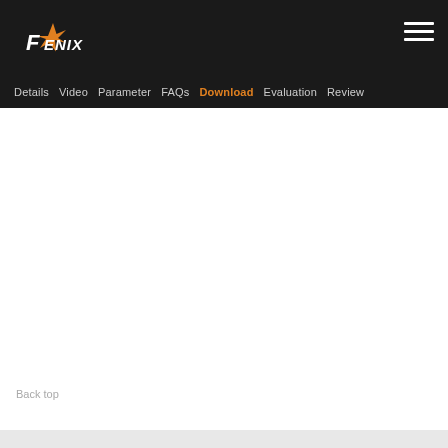Fenix logo and navigation menu
Details Video Parameter FAQs Download Evaluation Review
Back top